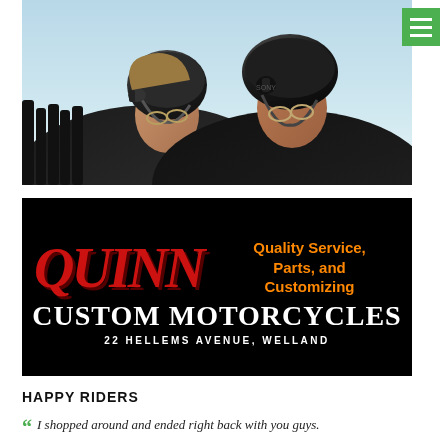[Figure (photo): Two older people wearing black motorcycle helmets and dark jackets, photographed from below against a light sky. The person in front appears to be a woman with glasses, and the person behind is a man with glasses.]
[Figure (logo): Quinn Custom Motorcycles advertisement on black background. 'QUINN' in large red italic letters on the left, orange bold text on the right reading 'Quality Service, Parts, and Customizing'. Below spans 'CUSTOM MOTORCYCLES' in large white serif letters, with '22 HELLEMS AVENUE, WELLAND' in smaller white caps underneath.]
HAPPY RIDERS
I shopped around and ended right back with you guys.